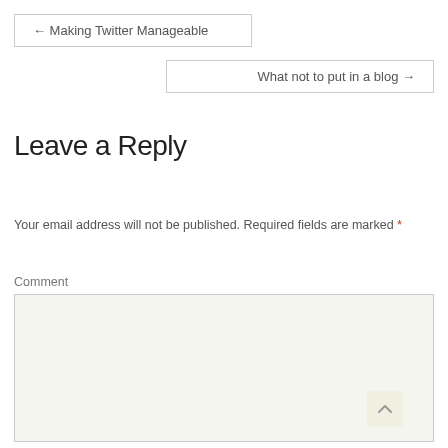← Making Twitter Manageable
What not to put in a blog →
Leave a Reply
Your email address will not be published. Required fields are marked *
Comment